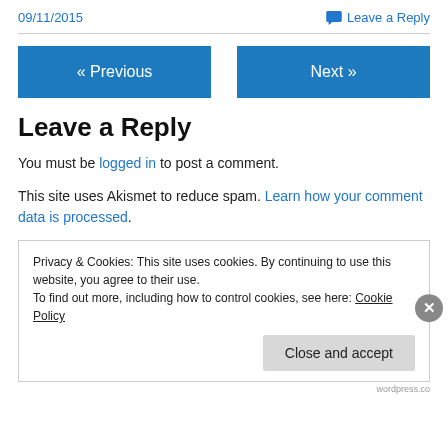09/11/2015
Leave a Reply
Leave a Reply
You must be logged in to post a comment.
This site uses Akismet to reduce spam. Learn how your comment data is processed.
Privacy & Cookies: This site uses cookies. By continuing to use this website, you agree to their use.
To find out more, including how to control cookies, see here: Cookie Policy